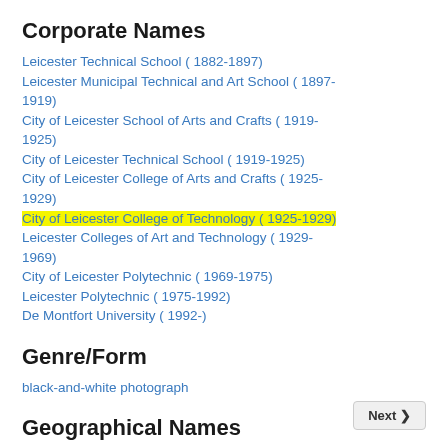Corporate Names
Leicester Technical School ( 1882-1897)
Leicester Municipal Technical and Art School ( 1897-1919)
City of Leicester School of Arts and Crafts ( 1919-1925)
City of Leicester Technical School ( 1919-1925)
City of Leicester College of Arts and Crafts ( 1925-1929)
City of Leicester College of Technology ( 1925-1929)
Leicester Colleges of Art and Technology ( 1929-1969)
City of Leicester Polytechnic ( 1969-1975)
Leicester Polytechnic ( 1975-1992)
De Montfort University ( 1992-)
Genre/Form
black-and-white photograph
Geographical Names
Leicester   Leicestershire   England